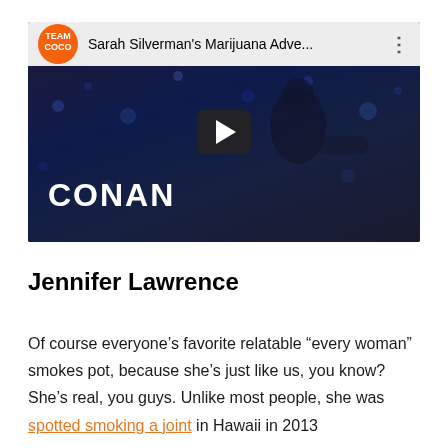[Figure (screenshot): YouTube video thumbnail from Team Coco channel. Title reads 'Sarah Silverman's Marijuana Adve...' with a three-dot menu icon. Video shows a woman in a black dress seated on a talk show set with 'CONAN' text overlay. A play button is centered on the thumbnail.]
Jennifer Lawrence
Of course everyone's favorite relatable “every woman” smokes pot, because she’s just like us, you know? She’s real, you guys. Unlike most people, she was [orange link text: spotted smoking a joint] in Hawaii in 2013